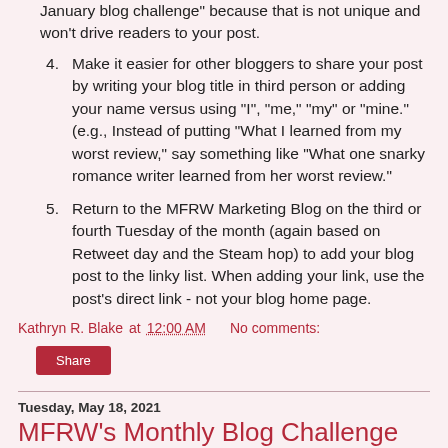January blog challenge" because that is not unique and won't drive readers to your post.
Make it easier for other bloggers to share your post by writing your blog title in third person or adding your name versus using "I", "me," "my" or "mine." (e.g., Instead of putting "What I learned from my worst review," say something like "What one snarky romance writer learned from her worst review."
Return to the MFRW Marketing Blog on the third or fourth Tuesday of the month (again based on Retweet day and the Steam hop) to add your blog post to the linky list. When adding your link, use the post's direct link - not your blog home page.
Kathryn R. Blake at 12:00 AM   No comments:
Share
Tuesday, May 18, 2021
MFRW's Monthly Blog Challenge Participants #MFRWAuthor